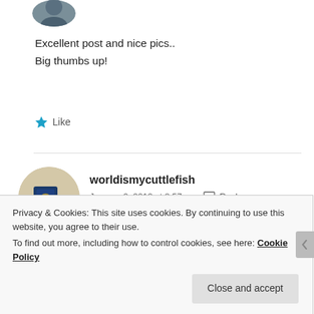[Figure (photo): Circular avatar photo of a person, partially visible at top]
Excellent post and nice pics..
Big thumbs up!
★ Like
[Figure (photo): Circular avatar photo showing a passport on a map]
worldismycuttlefish
January 9, 2012 at 8:57 am  💬 Reply
The Church of the Holy Sepulchre is rich and detailed. Nice
Privacy & Cookies: This site uses cookies. By continuing to use this website, you agree to their use.
To find out more, including how to control cookies, see here: Cookie Policy
Close and accept